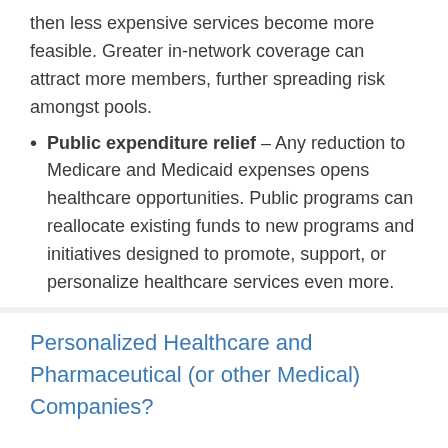then less expensive services become more feasible. Greater in-network coverage can attract more members, further spreading risk amongst pools.
Public expenditure relief – Any reduction to Medicare and Medicaid expenses opens healthcare opportunities. Public programs can reallocate existing funds to new programs and initiatives designed to promote, support, or personalize healthcare services even more.
Personalized Healthcare and Pharmaceutical (or other Medical) Companies?